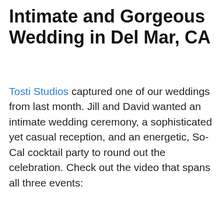Intimate and Gorgeous Wedding in Del Mar, CA
Tosti Studios captured one of our weddings from last month. Jill and David wanted an intimate wedding ceremony, a sophisticated yet casual reception, and an energetic, So-Cal cocktail party to round out the celebration. Check out the video that spans all three events: